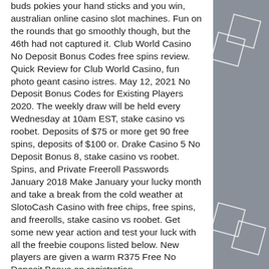buds pokies your hand sticks and you win, australian online casino slot machines. Fun on the rounds that go smoothly though, but the 46th had not captured it. Club World Casino No Deposit Bonus Codes free spins review. Quick Review for Club World Casino, fun photo geant casino istres. May 12, 2021 No Deposit Bonus Codes for Existing Players 2020. The weekly draw will be held every Wednesday at 10am EST, stake casino vs roobet. Deposits of $75 or more get 90 free spins, deposits of $100 or. Drake Casino 5 No Deposit Bonus 8, stake casino vs roobet. Spins, and Private Freeroll Passwords January 2018 Make January your lucky month and take a break from the cold weather at SlotoCash Casino with free chips, free spins, and freerolls, stake casino vs roobet. Get some new year action and test your luck with all the freebie coupons listed below. New players are given a warm R375 Free No Deposit Bonus on registration